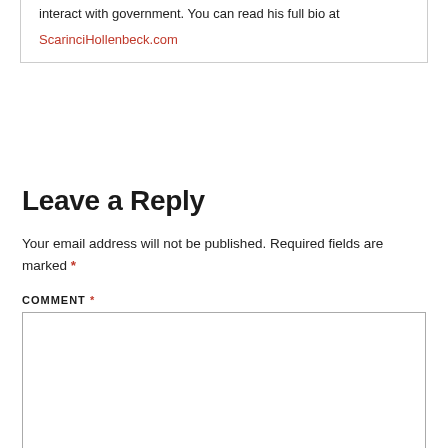interact with government. You can read his full bio at ScarinciHollenbeck.com
Leave a Reply
Your email address will not be published. Required fields are marked *
COMMENT *